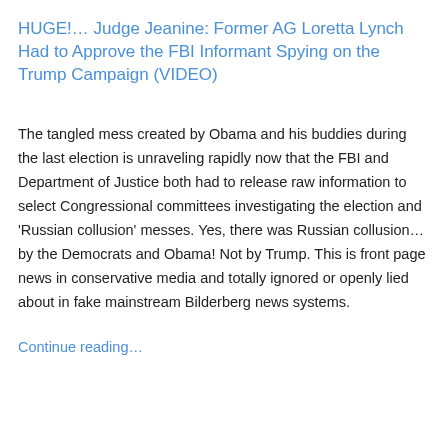HUGE!… Judge Jeanine: Former AG Loretta Lynch Had to Approve the FBI Informant Spying on the Trump Campaign (VIDEO)
The tangled mess created by Obama and his buddies during the last election is unraveling rapidly now that the FBI and Department of Justice both had to release raw information to select Congressional committees investigating the election and 'Russian collusion' messes.  Yes, there was Russian collusion…by the Democrats and Obama!  Not by Trump.  This is front page news in conservative media and totally ignored or openly lied about in fake mainstream Bilderberg news systems.
Continue reading…